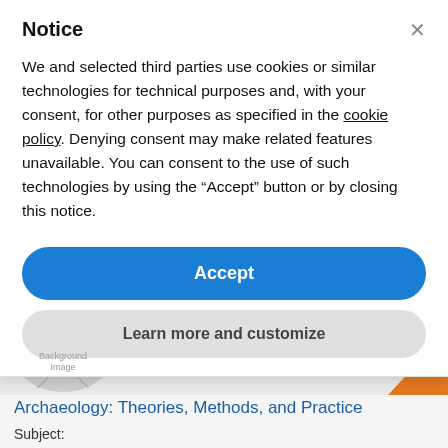Notice
We and selected third parties use cookies or similar technologies for technical purposes and, with your consent, for other purposes as specified in the cookie policy. Denying consent may make related features unavailable. You can consent to the use of such technologies by using the “Accept” button or by closing this notice.
Accept
Learn more and customize
[Figure (screenshot): Partially visible background page showing a book thumbnail area with a background image placeholder, an orange shape, italic text 'Bahn', a blue book title 'Archaeology: Theories, Methods, and Practice', and a 'Subject:' label.]